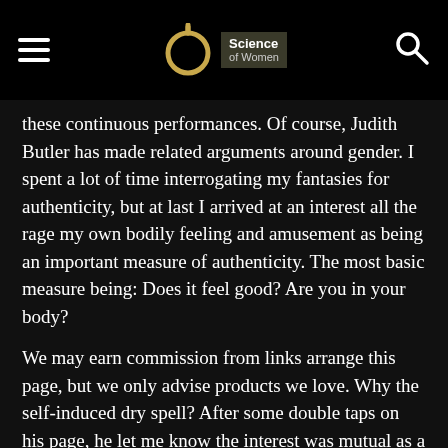Science of Women
these continuous performances. Of course, Judith Butler has made related arguments around gender. I spent a lot of time interrogating my fantasies for authenticity, but at last I arrived at an interest all the rage my own bodily feeling and amusement as being an important measure of authenticity. The most basic measure being: Does it feel good? Are you in your body?
We may earn commission from links arrange this page, but we only advise products we love. Why the self-induced dry spell? After some double taps on his page, he let me know the interest was mutual as a result of sliding into my DMs. And a good deal to my simultaneous delight and alarm, there was actual substance in our conversations. I had a serious